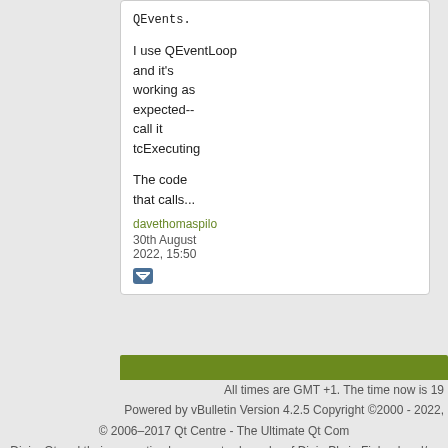QEvents.
I use QEventLoop and it's working as expected-- call it tcExecuting
The code that calls...
davethomaspilot
30th August 2022, 15:50
All times are GMT +1. The time now is 19
Powered by vBulletin Version 4.2.5 Copyright ©2000 - 2022,
© 2006–2017 Qt Centre - The Ultimate Qt Com
Digia, Qt and their respective logos are trademarks of Digia Plc in Finland and/or othe